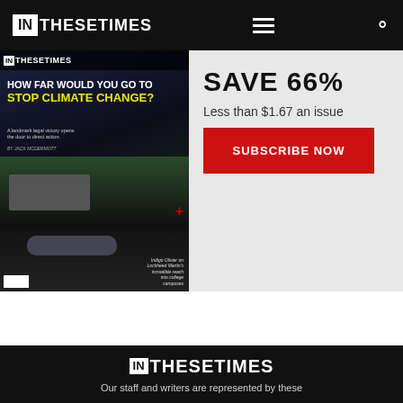IN THESE TIMES
[Figure (photo): Magazine cover showing climate protest scene - person lying on road in front of truck, headline reads HOW FAR WOULD YOU GO TO STOP CLIMATE CHANGE?]
SAVE 66%
Less than $1.67 an issue
SUBSCRIBE NOW
[Figure (logo): IN THESE TIMES logo in white on black background]
Our staff and writers are represented by these